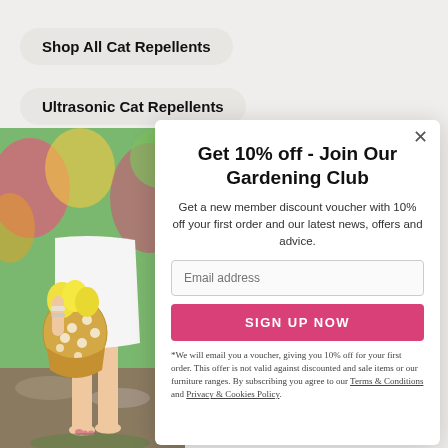Shop All Cat Repellents
Ultrasonic Cat Repellents
[Figure (photo): Woman in white dress carrying a woven basket with yellow flowers, standing on a stone path in a colorful garden]
Get 10% off - Join Our Gardening Club
Get a new member discount voucher with 10% off your first order and our latest news, offers and advice.
Email address
SIGN UP NOW
*We will email you a voucher, giving you 10% off for your first order. This offer is not valid against discounted and sale items or our furniture ranges. By subscribing you agree to our Terms & Conditions and Privacy & Cookies Policy.